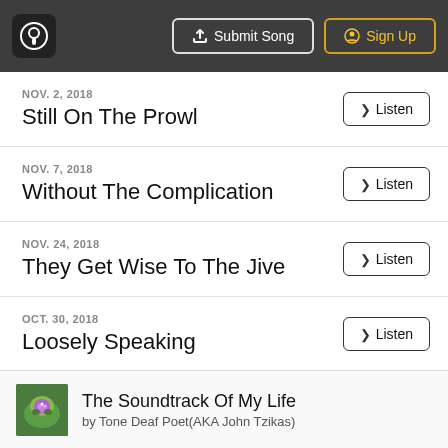Submit Song | Sign Up
NOV. 2, 2018 — Still On The Prowl
NOV. 7, 2018 — Without The Complication
NOV. 24, 2018 — They Get Wise To The Jive
OCT. 30, 2018 — Loosely Speaking
The Soundtrack Of My Life by Tone Deaf Poet(AKA John Tzikas)